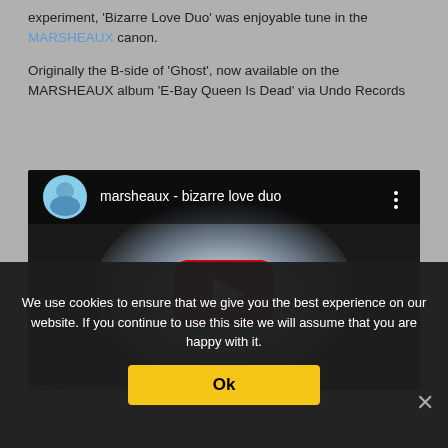experiment, 'Bizarre Love Duo' was enjoyable tune in the MARSHEAUX canon.
Originally the B-side of 'Ghost', now available on the MARSHEAUX album 'E-Bay Queen Is Dead' via Undo Records
[Figure (screenshot): YouTube embedded video player showing 'marsheaux - bizarre love duo' with a landscape thumbnail, red play button, and channel avatar]
We use cookies to ensure that we give you the best experience on our website. If you continue to use this site we will assume that you are happy with it.
https://www.facebook.com/marsheaux